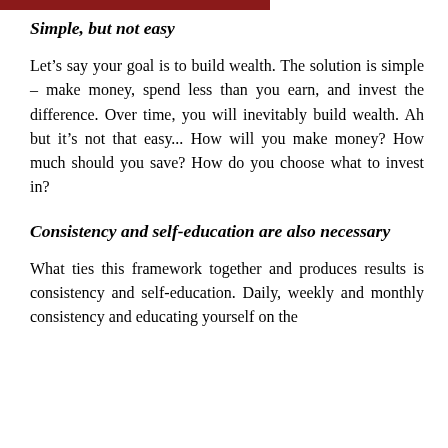Simple, but not easy
Let’s say your goal is to build wealth. The solution is simple – make money, spend less than you earn, and invest the difference. Over time, you will inevitably build wealth. Ah but it’s not that easy... How will you make money? How much should you save? How do you choose what to invest in?
Consistency and self-education are also necessary
What ties this framework together and produces results is consistency and self-education. Daily, weekly and monthly consistency and educating yourself on the